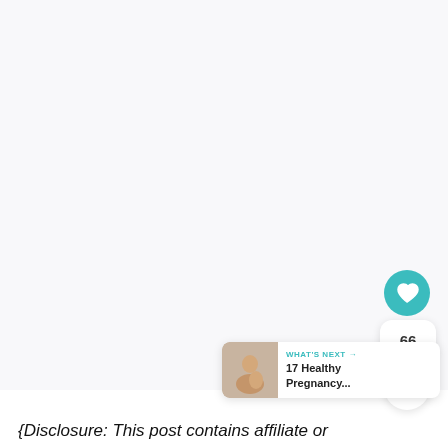[Figure (photo): Large mostly white/blank image area at the top of the page, possibly a recipe or health-related photo that is not fully visible]
[Figure (infographic): UI overlay elements: teal heart/like button showing 66 likes, a share button, and a 'WHAT'S NEXT' card showing '17 Healthy Pregnancy...' with a thumbnail of a pregnant woman]
{Disclosure: This post contains affiliate or